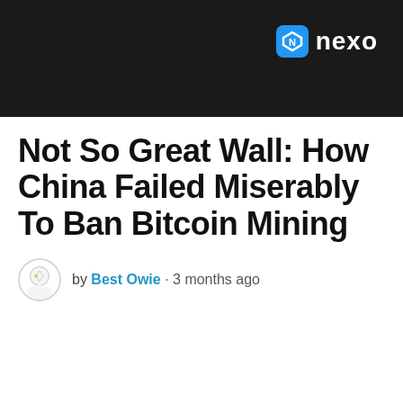[Figure (photo): Dark background advertisement banner with Nexo logo (blue diamond icon and white 'nexo' text) in the upper right]
Not So Great Wall: How China Failed Miserably To Ban Bitcoin Mining
by Best Owie · 3 months ago
This website uses cookies. By continuing to use this website
Z TOP STORY: New Tamadoge Coin's Presale is 95% sold!
READ MORE